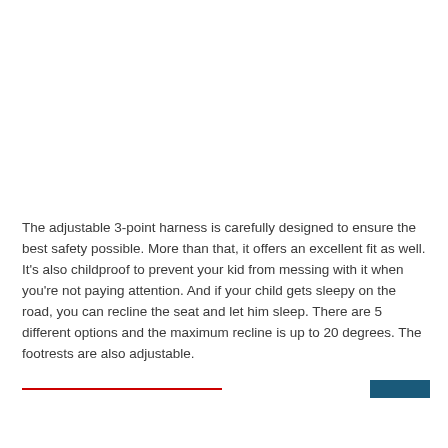The adjustable 3-point harness is carefully designed to ensure the best safety possible. More than that, it offers an excellent fit as well. It's also childproof to prevent your kid from messing with it when you're not paying attention. And if your child gets sleepy on the road, you can recline the seat and let him sleep. There are 5 different options and the maximum recline is up to 20 degrees. The footrests are also adjustable.